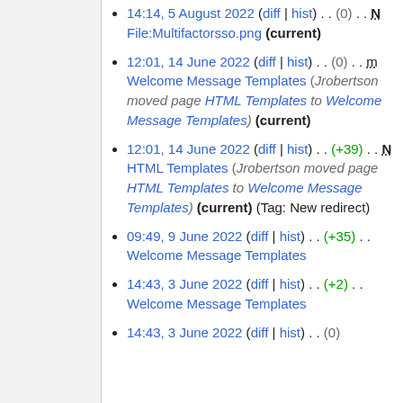14:14, 5 August 2022 (diff | hist) . . (0) . . N File:Multifactorsso.png (current)
12:01, 14 June 2022 (diff | hist) . . (0) . . m Welcome Message Templates (Jrobertson moved page HTML Templates to Welcome Message Templates) (current)
12:01, 14 June 2022 (diff | hist) . . (+39) . . N HTML Templates (Jrobertson moved page HTML Templates to Welcome Message Templates) (current) (Tag: New redirect)
09:49, 9 June 2022 (diff | hist) . . (+35) . . Welcome Message Templates
14:43, 3 June 2022 (diff | hist) . . (+2) . . Welcome Message Templates
14:43, 3 June 2022 (diff | hist) . . (0)